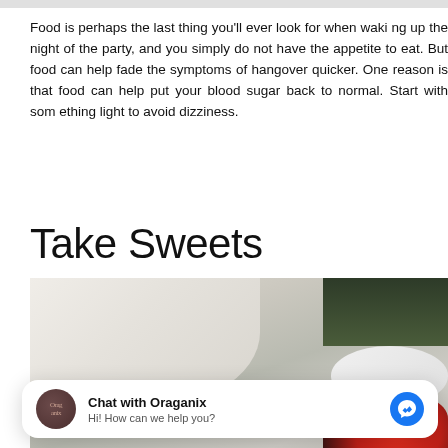Food is perhaps the last thing you'll ever look for when waking up the night of the party, and you simply do not have the appetite to eat. But food can help fade the symptoms of hangover quicker. One reason is that food can help put your blood sugar back to normal. Start with something light to avoid dizziness.
Take Sweets
[Figure (photo): Photo of what appears to be sweets or dessert items including cream/meringue, dark berries (grapes/blueberries), strawberries, on a marble surface with green leaves visible.]
Chat with Oraganix
Hi! How can we help you?